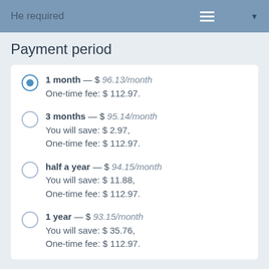He required
Payment period
1 month — $ 96.13/month One-time fee: $ 112.97.
3 months — $ 95.14/month You will save: $ 2.97, One-time fee: $ 112.97.
half a year — $ 94.15/month You will save: $ 11.88, One-time fee: $ 112.97.
1 year — $ 93.15/month You will save: $ 35.76, One-time fee: $ 112.97.
Additionally
Live support